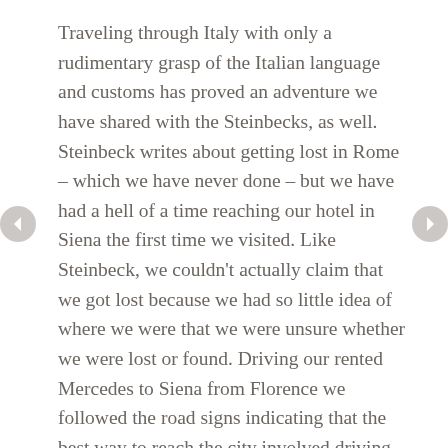Traveling through Italy with only a rudimentary grasp of the Italian language and customs has proved an adventure we have shared with the Steinbecks, as well. Steinbeck writes about getting lost in Rome – which we have never done – but we have had a hell of a time reaching our hotel in Siena the first time we visited. Like Steinbeck, we couldn't actually claim that we got lost because we had so little idea of where we were that we were unsure whether we were lost or found. Driving our rented Mercedes to Siena from Florence we followed the road signs indicating that the best way to reach the city involved driving up the front of the mountain: so we did. We arrived at a car park filled with tourist coaches and proceeded to search for our hotel to no avail. It was about a block away but we could see no route by which to reach it. The tourists we asked were no help – they were as unsure of their location as we were – and the Italians insisted that we return down the mountain